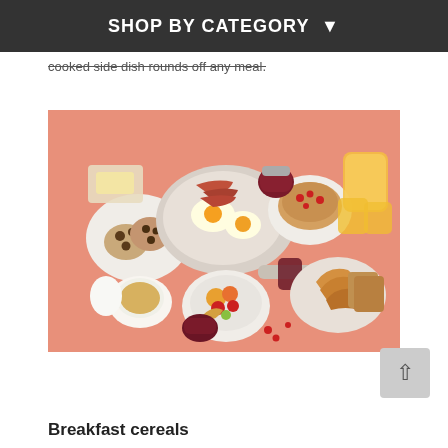SHOP BY CATEGORY
cooked side dish rounds off any meal.
[Figure (photo): Overhead flat-lay of a breakfast spread on a salmon-pink background, showing muffins, fried eggs with bacon in a pan, pancakes with fruit, croissants, toast, coffee cup, fruit bowl, orange juice pitcher, and various jams on plates.]
Breakfast cereals